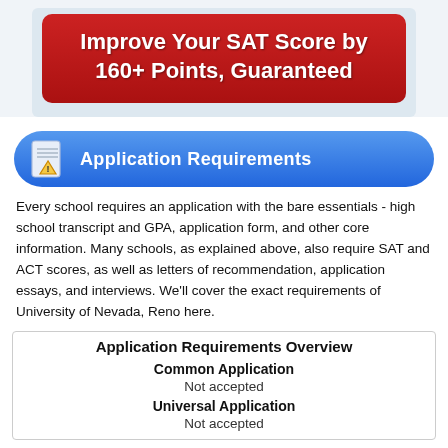[Figure (infographic): Red rounded rectangle banner with white bold text: 'Improve Your SAT Score by 160+ Points, Guaranteed']
Application Requirements
Every school requires an application with the bare essentials - high school transcript and GPA, application form, and other core information. Many schools, as explained above, also require SAT and ACT scores, as well as letters of recommendation, application essays, and interviews. We'll cover the exact requirements of University of Nevada, Reno here.
| Application Requirements Overview |
| Common Application |
| Not accepted |
| Universal Application |
| Not accepted |